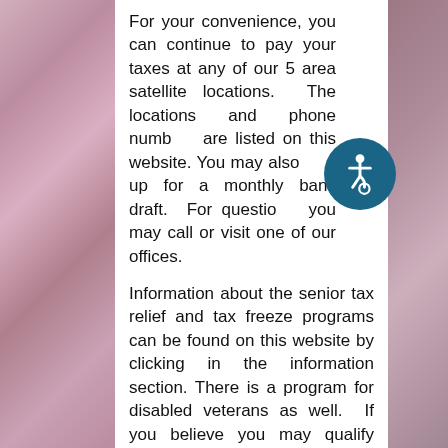For your convenience, you can continue to pay your taxes at any of our 5 area satellite locations. The locations and phone numbers are listed on this website. You may also sign up for a monthly bank draft. For questions, you may call or visit one of our offices.
Information about the senior tax relief and tax freeze programs can be found on this website by clicking in the information section. There is a program for disabled veterans as well. If you believe you may qualify please contact our office to get further information.
If you have questions or concerns about your Knox County property tax, please contact me or my staff. You have my assurance that honesty and integrity will be at the core of everything we do in the Trustee's Office.